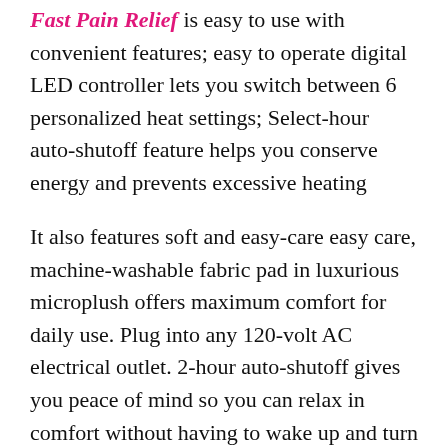Fast Pain Relief is easy to use with convenient features; easy to operate digital LED controller lets you switch between 6 personalized heat settings; Select-hour auto-shutoff feature helps you conserve energy and prevents excessive heating
It also features soft and easy-care easy care, machine-washable fabric pad in luxurious microplush offers maximum comfort for daily use. Plug into any 120-volt AC electrical outlet. 2-hour auto-shutoff gives you peace of mind so you can relax in comfort without having to wake up and turn off the pad. Plenty of coverage king size/XL pad measures 12" x 24" to cover larger areas that